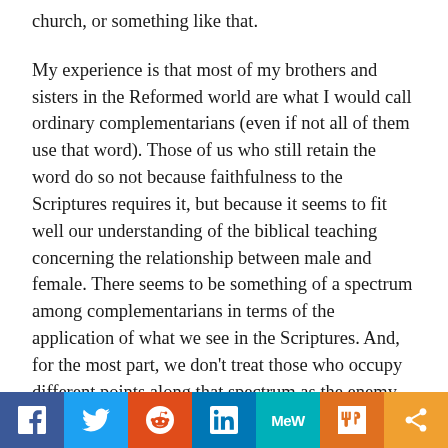church, or something like that.
My experience is that most of my brothers and sisters in the Reformed world are what I would call ordinary complementarians (even if not all of them use that word). Those of us who still retain the word do so not because faithfulness to the Scriptures requires it, but because it seems to fit well our understanding of the biblical teaching concerning the relationship between male and female. There seems to be something of a spectrum among complementarians in terms of the application of what we see in the Scriptures. And, for the most part, we don't treat those who occupy different points along that spectrum as the enemy. In my experience that describes most
[Figure (other): Social media share bar with buttons for Facebook, Twitter, Reddit, LinkedIn, MeWe, Mix, and Share]